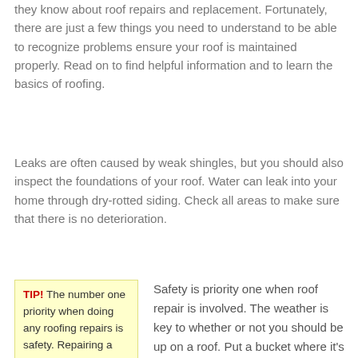they know about roof repairs and replacement. Fortunately, there are just a few things you need to understand to be able to recognize problems ensure your roof is maintained properly. Read on to find helpful information and to learn the basics of roofing.
Leaks are often caused by weak shingles, but you should also inspect the foundations of your roof. Water can leak into your home through dry-rotted siding. Check all areas to make sure that there is no deterioration.
TIP! The number one priority when doing any roofing repairs is safety. Repairing a roof in bad weather is a recipe for disaster.
Safety is priority one when roof repair is involved. The weather is key to whether or not you should be up on a roof. Put a bucket where it's leaking and wait for clear weather.
If you're feeling pressured by a